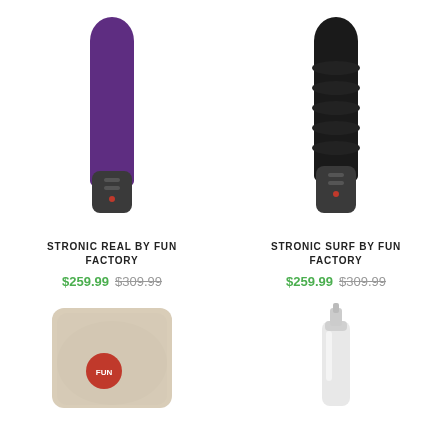[Figure (photo): Purple silicone vibrator with dark grey base and control buttons - Stronic Real by Fun Factory]
STRONIC REAL BY FUN FACTORY
$259.99 $309.99
[Figure (photo): Black textured silicone vibrator with dark grey base and control buttons - Stronic Surf by Fun Factory]
STRONIC SURF BY FUN FACTORY
$259.99 $309.99
[Figure (photo): Beige/cream fabric bag with red Fun Factory circular logo badge]
[Figure (photo): White spray bottle/dispenser bottle]